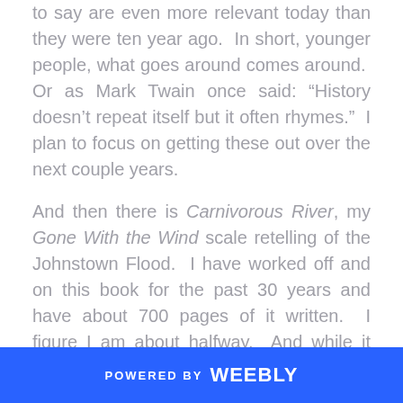to say are even more relevant today than they were ten year ago.  In short, younger people, what goes around comes around.  Or as Mark Twain once said: “History doesn’t repeat itself but it often rhymes.”  I plan to focus on getting these out over the next couple years.
And then there is Carnivorous River, my Gone With the Wind scale retelling of the Johnstown Flood.  I have worked off and on this book for the past 30 years and have about 700 pages of it written.  I figure I am about halfway.  And while it may seem like an obscure subject matter, it too has become more and more relevant the more climate change extends its hand across our globe and class and economic differences threaten to tear our society apart.  Don’t worry, I promise to make it entertaining in
POWERED BY weebly